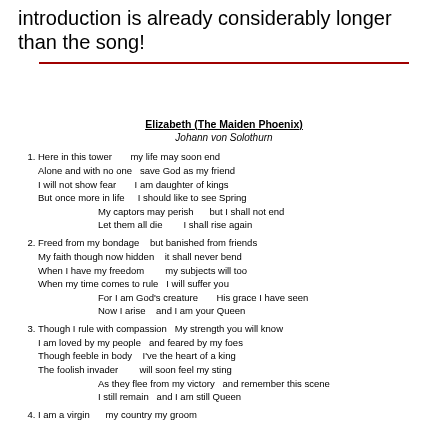introduction is already considerably longer than the song!
Elizabeth (The Maiden Phoenix)
Johann von Solothurn
1. Here in this tower     my life may soon end
Alone and with no one   save God as my friend
I will not show fear        I am daughter of kings
But once more in life      I should like to see Spring
        My captors may perish       but I shall not end
        Let them all die         I shall rise again
2. Freed from my bondage    but banished from friends
My faith though now hidden     it shall never bend
When I have my freedom           my subjects will too
When my time comes to rule    I will suffer you
        For I am God's creature         His grace I have seen
        Now I arise    and I am your Queen
3. Though I rule with compassion   My strength you will know
I am loved by my people   and feared by my foes
Though feeble in body     I've the heart of a king
The foolish invader          will soon feel my sting
        As they flee from my victory   and remember this scene
        I still remain   and I am still Queen
4. I am a virgin        my country my groom